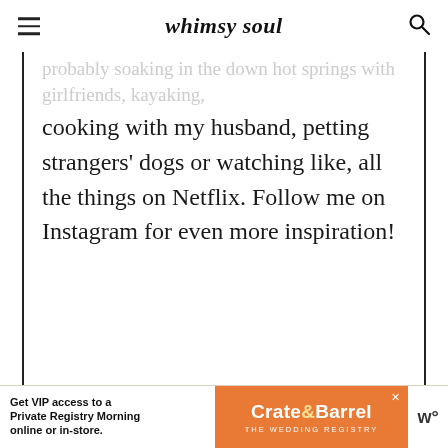whimsy soul
probably soaking in the down hot springs with girlfriends, kayaking, cooking with my husband, petting strangers' dogs or watching like, all the things on Netflix. Follow me on Instagram for even more inspiration!
[Figure (illustration): Globe icon and Instagram icon in orange/amber color]
LEAVE A REPLY
YOUR EMAIL ADDRESS WILL NOT BE PUBLISHED. REQUIRED FIELDS ARE MARKED *
[Figure (infographic): Floating heart button showing count of 1 and a share button on the right side]
[Figure (infographic): What's Next panel with thumbnail and text: The Fringe Dress You...]
[Figure (infographic): Advertisement banner: Get VIP access to a Private Registry Morning online or in-store. Crate & Barrel THE WEDDING REGISTRY]